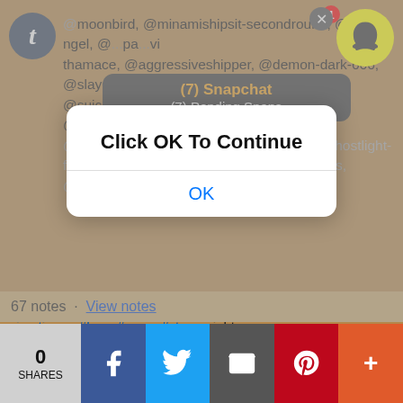[Figure (screenshot): Snapchat notification banner showing '(7) Snapchat' and '(7) Pending Snaps' with Snapchat ghost icon and red badge showing 1]
@moonbird, @minamishipsit-secondround, @5..., ngel, @...pa...vi, thamace, @aggressiveshipper, @demon-dark-666, @slayerofspiders, @underthesea73, @suicidalcitrusfruit, @sander-side-stuff, @daddyofrapture, @the-angry-ship, @itsafangirlhing416, @marycharlotte, @a-ghostlight-for-roman, @dupstepbranch, @janusdancers, @multi-fandom...
[Figure (screenshot): iOS-style dialog box with text 'Click OK To Continue' and an OK button]
#Sander Sides #Logan #cit #animation #tsanimation #from #percy #story might need to change the battery in your watch Logan #me the op was too lazy to make it tick
67 notes · View notes
[Figure (screenshot): Social share bar with 0 SHARES count, Facebook, Twitter, Email, Pinterest, and more (+) buttons]